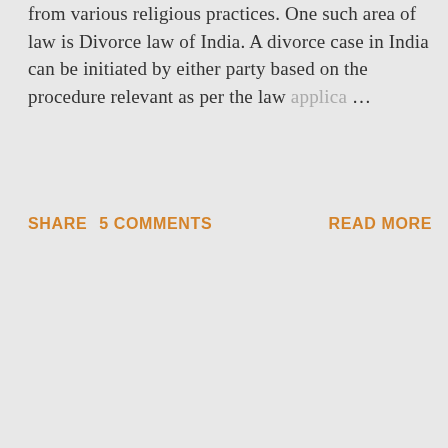from various religious practices. One such area of law is Divorce law of India. A divorce case in India can be initiated by either party based on the procedure relevant as per the law applica… …
SHARE   5 COMMENTS   READ MORE